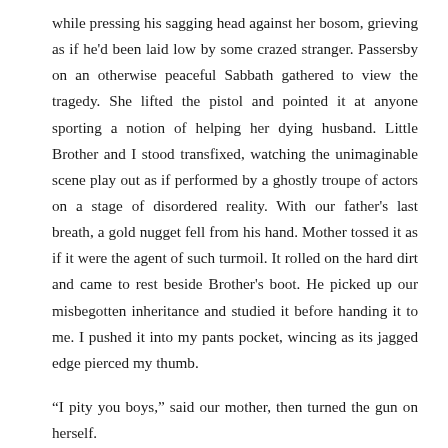while pressing his sagging head against her bosom, grieving as if he'd been laid low by some crazed stranger. Passersby on an otherwise peaceful Sabbath gathered to view the tragedy. She lifted the pistol and pointed it at anyone sporting a notion of helping her dying husband. Little Brother and I stood transfixed, watching the unimaginable scene play out as if performed by a ghostly troupe of actors on a stage of disordered reality. With our father's last breath, a gold nugget fell from his hand. Mother tossed it as if it were the agent of such turmoil. It rolled on the hard dirt and came to rest beside Brother's boot. He picked up our misbegotten inheritance and studied it before handing it to me. I pushed it into my pants pocket, wincing as its jagged edge pierced my thumb.
“I pity you boys,” said our mother, then turned the gun on herself.